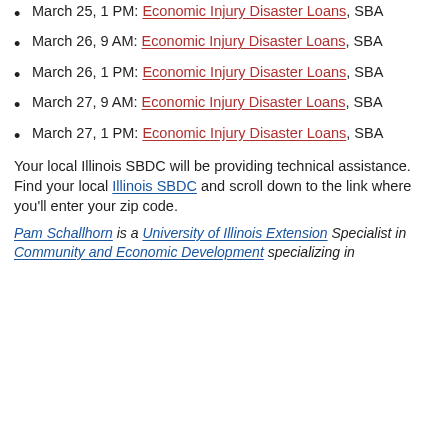March 25, 1 PM: Economic Injury Disaster Loans, SBA
March 26, 9 AM: Economic Injury Disaster Loans, SBA
March 26, 1 PM: Economic Injury Disaster Loans, SBA
March 27, 9 AM: Economic Injury Disaster Loans, SBA
March 27, 1 PM: Economic Injury Disaster Loans, SBA
Your local Illinois SBDC will be providing technical assistance.  Find your local Illinois SBDC and scroll down to the link where you'll enter your zip code.
Pam Schallhorn is a University of Illinois Extension Specialist in Community and Economic Development specializing in